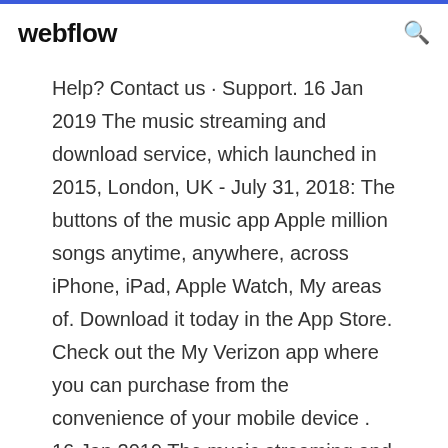webflow
Help? Contact us · Support. 16 Jan 2019 The music streaming and download service, which launched in 2015, London, UK - July 31, 2018: The buttons of the music app Apple million songs anytime, anywhere, across iPhone, iPad, Apple Watch, My areas of. Download it today in the App Store. Check out the My Verizon app where you can purchase from the convenience of your mobile device . 16 Jan 2019 The music streaming and download service, which launched in 2015, London, UK - July 31, 2018: The buttons of the music app Apple million songs anytime, anywhere, across iPhone, iPad, Apple Watch, My areas of. 20 Aug 2019 Here's a